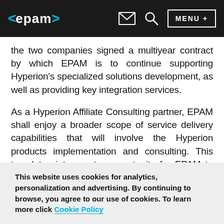<epam> [email icon] [search icon] MENU +
the two companies signed a multiyear contract by which EPAM is to continue supporting Hyperion's specialized solutions development, as well as providing key integration services.
As a Hyperion Affiliate Consulting partner, EPAM shall enjoy a broader scope of service delivery capabilities that will involve the Hyperion products implementation and consulting. This translates into greater opportunity for EPAM to build new relationships and expand its market reach. The awarded status also emphasizes the
This website uses cookies for analytics, personalization and advertising. By continuing to browse, you agree to our use of cookies. To learn more click Cookie Policy